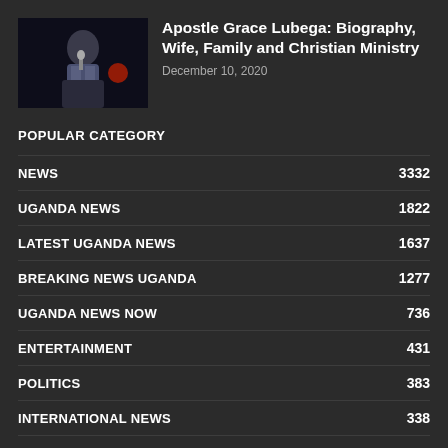[Figure (photo): Man in suit speaking at a podium with microphone, dark background with red element]
Apostle Grace Lubega: Biography, Wife, Family and Christian Ministry
December 10, 2020
POPULAR CATEGORY
NEWS 3332
UGANDA NEWS 1822
LATEST UGANDA NEWS 1637
BREAKING NEWS UGANDA 1277
UGANDA NEWS NOW 736
ENTERTAINMENT 431
POLITICS 383
INTERNATIONAL NEWS 338
PROFILES 326